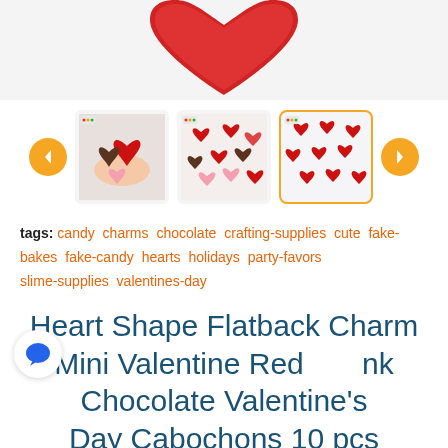[Figure (photo): Main product photo showing red heart flatback charms on white background, partially visible at top]
[Figure (photo): Thumbnail 1: Hand holding red, chocolate brown, and pink heart-shaped cabochons]
[Figure (photo): Thumbnail 2: Assorted red, dark, and pink heart cabochons scattered on white surface]
[Figure (photo): Thumbnail 3 (active/selected): Multiple red heart flatback charms on white background, highlighted with orange border]
tags: candy charms chocolate crafting-supplies cute fake-bakes fake-candy hearts holidays party-favors slime-supplies valentines-day
Heart Shape Flatback Charm Mini Valentine Red Pink Chocolate Valentine's Day Cabochons 10 pcs